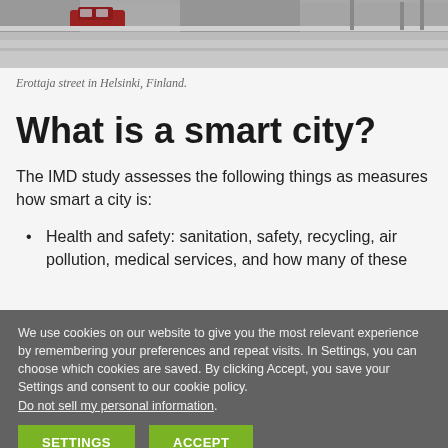[Figure (photo): Street photo of Erottaja street in Helsinki, Finland, showing a red car on a road]
Erottaja street in Helsinki, Finland.
What is a smart city?
The IMD study assesses the following things as measures how smart a city is:
Health and safety: sanitation, safety, recycling, air pollution, medical services, and how many of these
We use cookies on our website to give you the most relevant experience by remembering your preferences and repeat visits. In Settings, you can choose which cookies are saved. By clicking Accept, you save your Settings and consent to our cookie policy. Do not sell my personal information.